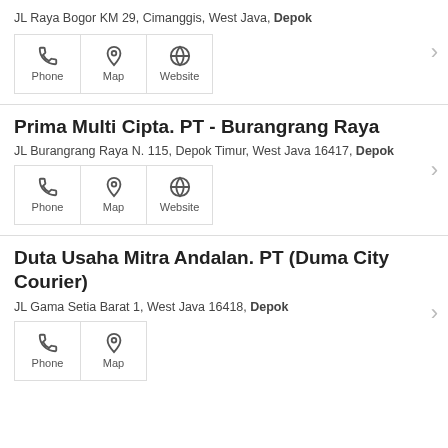JL Raya Bogor KM 29, Cimanggis, West Java, Depok
[Figure (infographic): Phone, Map, Website icon buttons for first listing]
Prima Multi Cipta. PT - Burangrang Raya
JL Burangrang Raya N. 115, Depok Timur, West Java 16417, Depok
[Figure (infographic): Phone, Map, Website icon buttons for second listing]
Duta Usaha Mitra Andalan. PT (Duma City Courier)
JL Gama Setia Barat 1, West Java 16418, Depok
[Figure (infographic): Phone, Map icon buttons for third listing]